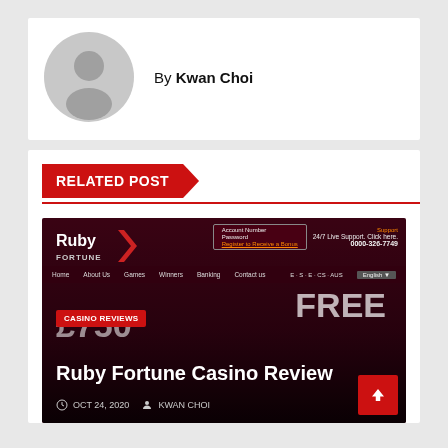By Kwan Choi
RELATED POST
[Figure (screenshot): Ruby Fortune Casino website screenshot showing casino review post with title 'Ruby Fortune Casino Review', dated OCT 24, 2020, by KWAN CHOI]
Ruby Fortune Casino Review — OCT 24, 2020 — KWAN CHOI